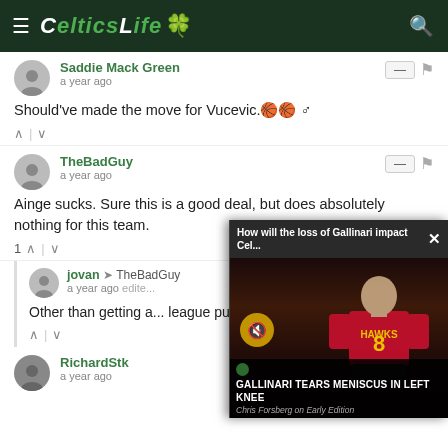CelticsLife
Saddie Mack Green
a year ago
Should've made the move for Vucevic.🏀🏀♂
TheBadGuy
a year ago
Ainge sucks. Sure this is a good deal, but does absolutely nothing for this team.
jovan → TheBadGuy
a year ago edited
Other than getting a... league putting up n... for 2 second round...
RichardStk
a year ago
[Figure (screenshot): Video overlay showing 'How will the loss of Gallinari impact Cel...' with a Hawks player #8 photo and caption 'GALLINARI TEARS MENISCUS IN LEFT KNEE']